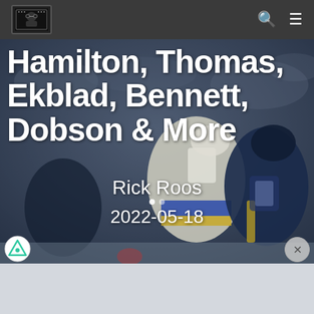Hockey site navigation bar with logo, search icon, and menu icon
[Figure (photo): Hockey players in action — one player in white and gold jersey (number 99), another in dark navy blue jersey, mid-game physical contact. Background shows blurred arena crowd.]
Hamilton, Thomas, Ekblad, Bennett, Dobson & More
Rick Roos
2022-05-18